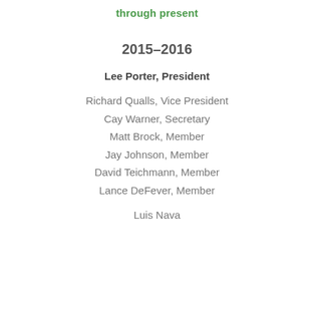through present
2015-2016
Lee Porter, President
Richard Qualls, Vice President
Cay Warner, Secretary
Matt Brock, Member
Jay Johnson, Member
David Teichmann, Member
Lance DeFever, Member
Luis Nava